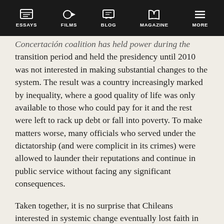ESSAYS | FILMS | BLOG | MAGAZINE | MORE
Concertación coalition has held power during the transition period and held the presidency until 2010 was not interested in making substantial changes to the system. The result was a country increasingly marked by inequality, where a good quality of life was only available to those who could pay for it and the rest were left to rack up debt or fall into poverty. To make matters worse, many officials who served under the dictatorship (and were complicit in its crimes) were allowed to launder their reputations and continue in public service without facing any significant consequences.
Taken together, it is no surprise that Chileans interested in systemic change eventually lost faith in the ballot box and turned to mass protest as the most effective tool available to finally do away with the twin evils of neoliberal capitalism and impunity for human right violations, past and present. This disillusionment with the political establishment goes a